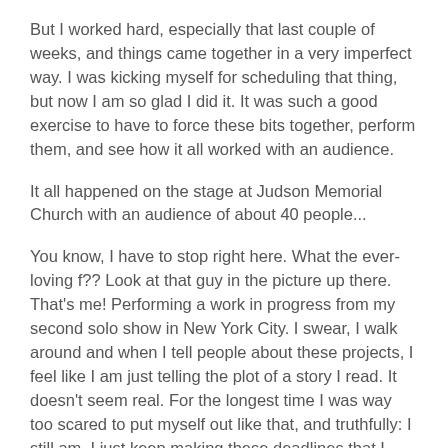But I worked hard, especially that last couple of weeks, and things came together in a very imperfect way. I was kicking myself for scheduling that thing, but now I am so glad I did it. It was such a good exercise to have to force these bits together, perform them, and see how it all worked with an audience.
It all happened on the stage at Judson Memorial Church with an audience of about 40 people...
You know, I have to stop right here. What the ever-loving f?? Look at that guy in the picture up there. That's me! Performing a work in progress from my second solo show in New York City. I swear, I walk around and when I tell people about these projects, I feel like I am just telling the plot of a story I read. It doesn't seem real. For the longest time I was way too scared to put myself out like that, and truthfully: I still am. I just keep making these deadlines that I can't get out of and then i just do it, I guess.
Anyway, the reading was great and I feel very inspired to